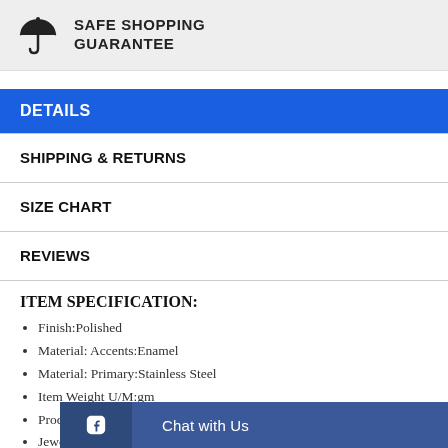[Figure (logo): Umbrella icon with text SAFE SHOPPING GUARANTEE]
DETAILS
SHIPPING & RETURNS
SIZE CHART
REVIEWS
ITEM SPECIFICATION:
Finish:Polished
Material: Accents:Enamel
Material: Primary:Stainless Steel
Item Weight U/M:gm
Product Type:Jewelry
Jewelry T
Gender:W